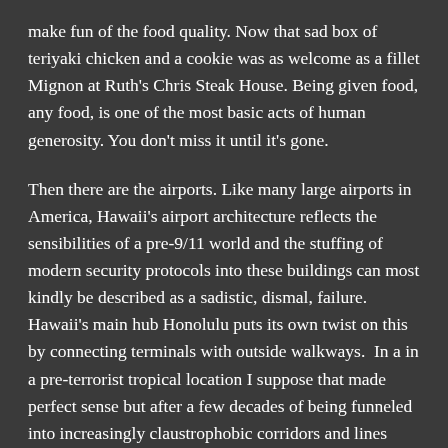make fun of the food quality. Now that sad box of teriyaki chicken and a cookie was as welcome as a fillet Mignon at Ruth's Chris Steak House. Being given food, any food, is one of the most basic acts of human generosity. You don't miss it until it's gone.

Then there are the airports. Like many large airports in America, Hawaii's airport architecture reflects the sensibilities of a pre-9/11 world and the stuffing of modern security protocols into these buildings can most kindly be described as a sadistic, dismal, failure. Hawaii's main hub Honolulu puts its own twist on this by connecting terminals with outside walkways.  In a in a pre-terrorist tropical location I suppose that made perfect sense but after a few decades of being funneled into increasingly claustrophobic corridors and lines physically separated from non-secured parts of airports by blast doors, full body scanners and armed guards; the act of actually opening a door and going outside after